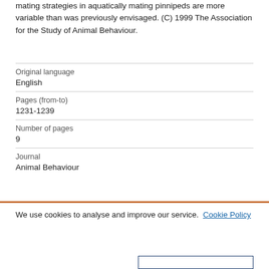mating strategies in aquatically mating pinnipeds are more variable than was previously envisaged. (C) 1999 The Association for the Study of Animal Behaviour.
| Original language | English |
| Pages (from-to) | 1231-1239 |
| Number of pages | 9 |
| Journal | Animal Behaviour |
We use cookies to analyse and improve our service.  Cookie Policy